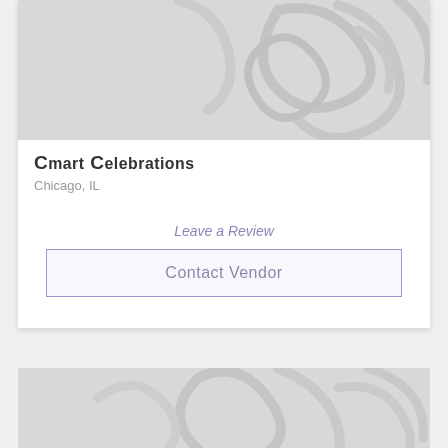[Figure (illustration): Decorative floral/swirl pattern background image in grey tones at top of card]
Cmart Celebrations
Chicago, IL
Leave a Review
Contact Vendor
[Figure (illustration): Partial decorative floral/swirl pattern background image in grey tones at bottom of page]